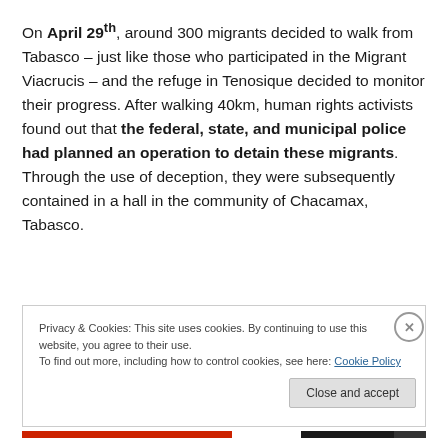On April 29th, around 300 migrants decided to walk from Tabasco – just like those who participated in the Migrant Viacrucis – and the refuge in Tenosique decided to monitor their progress. After walking 40km, human rights activists found out that the federal, state, and municipal police had planned an operation to detain these migrants. Through the use of deception, they were subsequently contained in a hall in the community of Chacamax, Tabasco.
Privacy & Cookies: This site uses cookies. By continuing to use this website, you agree to their use.
To find out more, including how to control cookies, see here: Cookie Policy